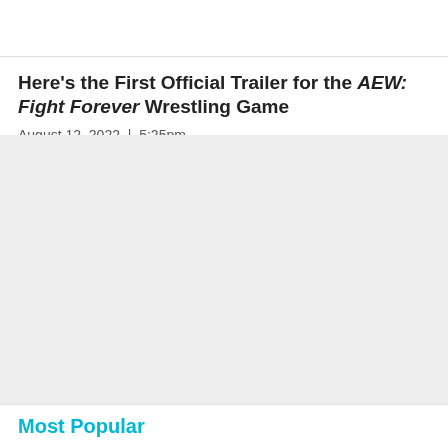Here's the First Official Trailer for the AEW: Fight Forever Wrestling Game
August 12, 2022  |  5:25pm
[Figure (other): Gray placeholder area where a video embed would appear]
Most Popular